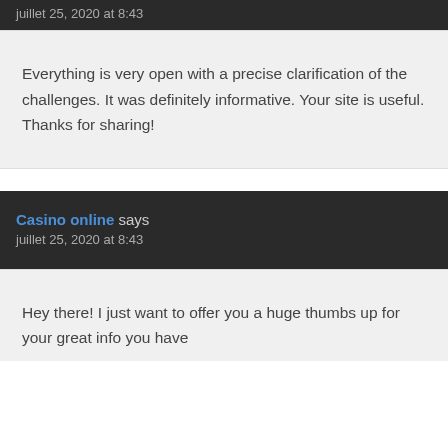juillet 25, 2020 at 8:43
Everything is very open with a precise clarification of the challenges. It was definitely informative. Your site is useful. Thanks for sharing!
Casino online says
juillet 25, 2020 at 8:43
Hey there! I just want to offer you a huge thumbs up for your great info you have